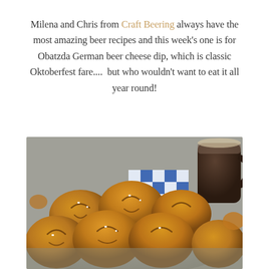Milena and Chris from Craft Beering always have the most amazing beer recipes and this week's one is for Obatzda German beer cheese dip, which is classic Oktoberfest fare.... but who wouldn't want to eat it all year round!
[Figure (photo): A basket of golden-brown pretzel rolls with coarse salt, arranged on a gray plate with a blue and white checkered cloth napkin, and a dark beer mug in the background.]